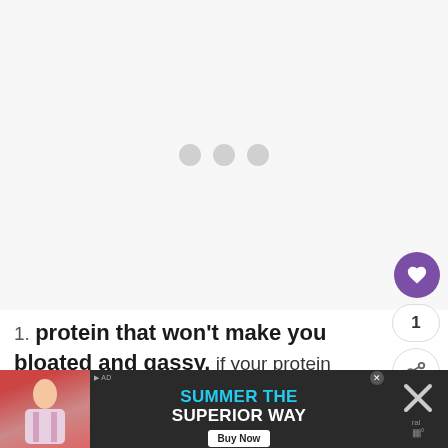[Figure (other): Loading placeholder with three gray dots on light gray background]
[Figure (other): Purple heart/like button with count of 1 and share button]
1. protein that won't make you bloated and gassy. if your protein {parti... whey protein} is making your tummy grumble, try using a vegan protein, i
[Figure (other): WHAT'S NEXT panel: 14 Day Challenge + ... with thumbnail image]
[Figure (other): Advertisement banner: SUMMER THE SUPERIOR WAY with Buy Now button and close X button]